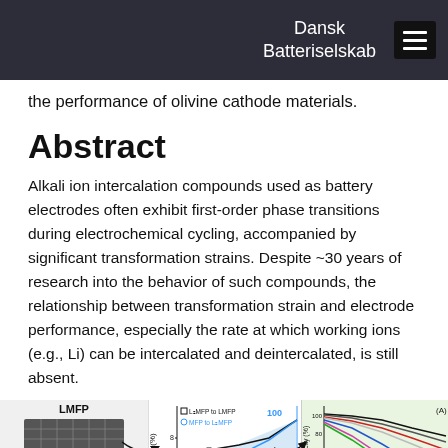Dansk Batteriselskab
the performance of olivine cathode materials.
Abstract
Alkali ion intercalation compounds used as battery electrodes often exhibit first-order phase transitions during electrochemical cycling, accompanied by significant transformation strains. Despite ~30 years of research into the behavior of such compounds, the relationship between transformation strain and electrode performance, especially the rate at which working ions (e.g., Li) can be intercalated and deintercalated, is still absent.
[Figure (illustration): Three-panel figure strip showing: (left) LMFP crystal lattice diagram with Li-extraction and Li-insertion labels; (center) misfit (%) graph with L2MFP to LMFP and MFP to L2MFP curves and percentage scale; (right) capacity (%) vs rate chart labeled (A) with multiple colored curves.]